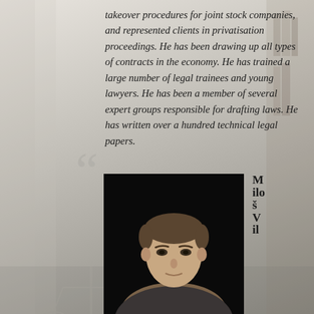takeover procedures for joint stock companies, and represented clients in privatisation proceedings. He has been drawing up all types of contracts in the economy. He has trained a large number of legal trainees and young lawyers. He has been a member of several expert groups responsible for drafting laws. He has written over a hundred technical legal papers.
[Figure (photo): Portrait photograph of a young man with short brown hair against a dark background, shown from shoulders up]
Miloš V